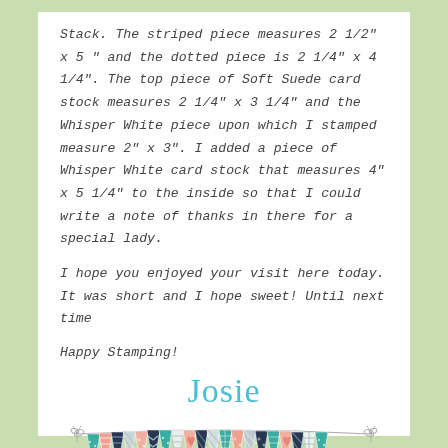Stack.  The striped piece measures 2 1/2" x 5 " and the dotted piece is 2 1/4" x 4 1/4".  The top piece of Soft Suede card stock measures 2 1/4" x 3 1/4" and the Whisper White piece upon which I stamped measure 2" x 3".  I added a piece of Whisper White card stock that measures 4" x 5 1/4" to the inside so that I could write a note of thanks in there for a special lady.
I hope  you enjoyed your visit here today.  It was short and I hope sweet!  Until next time
Happy Stamping!
Josie
[Figure (illustration): A decorative banner made of small pennant flags in teal, pink, dark navy, and light patterns, strung on a thin string with small bows at each end.]